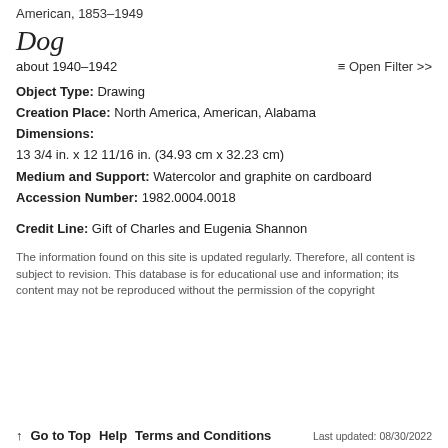American, 1853–1949
Dog
about 1940–1942
≡ Open Filter >>
Object Type: Drawing
Creation Place: North America, American, Alabama
Dimensions:
13 3/4 in. x 12 11/16 in. (34.93 cm x 32.23 cm)
Medium and Support: Watercolor and graphite on cardboard
Accession Number: 1982.0004.0018
Credit Line: Gift of Charles and Eugenia Shannon
The information found on this site is updated regularly. Therefore, all content is subject to revision. This database is for educational use and information; its content may not be reproduced without the permission of the copyright
↑ Go to Top  Help  Terms and Conditions  Last updated: 08/30/2022